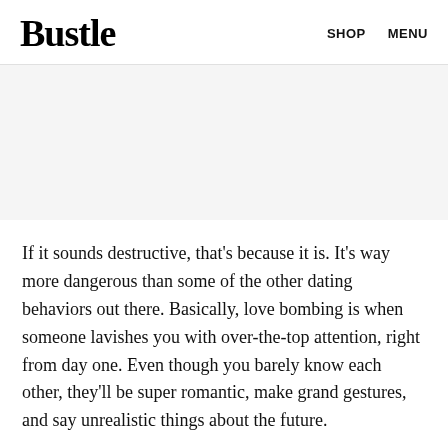Bustle   SHOP   MENU
[Figure (other): Gray advertisement/banner placeholder area]
If it sounds destructive, that's because it is. It's way more dangerous than some of the other dating behaviors out there. Basically, love bombing is when someone lavishes you with over-the-top attention, right from day one. Even though you barely know each other, they'll be super romantic, make grand gestures, and say unrealistic things about the future.